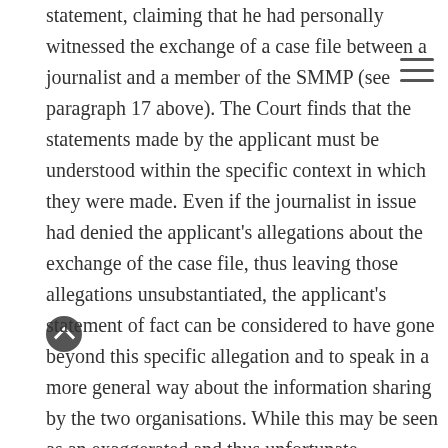statement, claiming that he had personally witnessed the exchange of a case file between a journalist and a member of the SMMP (see paragraph 17 above). The Court finds that the statements made by the applicant must be understood within the specific context in which they were made. Even if the journalist in issue had denied the applicant's allegations about the exchange of the case file, thus leaving those allegations unsubstantiated, the applicant's statement of fact can be considered to have gone beyond this specific allegation and to speak in a more general way about the information sharing by the two organisations. While this may be seen as an exaggerated and thus unfortunate formulation, the applicant's comments may well be interpreted as an illustration of a broader societal critique regarding the inappropriate intervention of the judiciary as a whole in politics and the media, which was a subject of public interest and which he believed to be true (see paragraphs